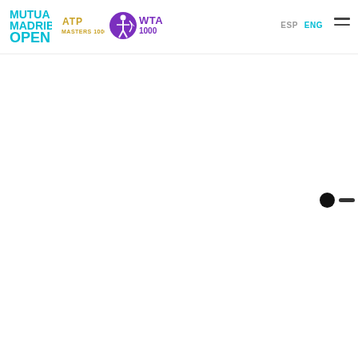Mutua Madrid Open | ATP Masters 1000 | WTA 1000 | ESP | ENG | menu
[Figure (logo): Mutua Madrid Open logo with cyan/teal lettering, ATP Masters 1000 gold badge, WTA 1000 purple logo with archer icon, and navigation links ESP and ENG, plus hamburger menu icon]